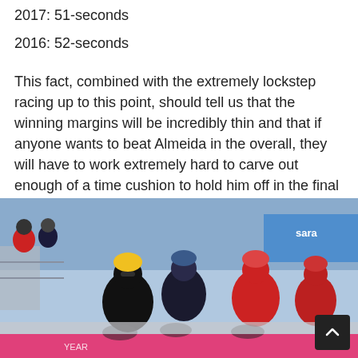2017: 51-seconds
2016: 52-seconds
This fact, combined with the extremely lockstep racing up to this point, should tell us that the winning margins will be incredibly thin and that if anyone wants to beat Almeida in the overall, they will have to work extremely hard to carve out enough of a time cushion to hold him off in the final 17-kilometer-long stage 21 time trial.
[Figure (photo): Cyclists racing in the Giro d'Italia, riders in black and red jerseys competing closely together, spectators and sponsor banners visible in the background.]